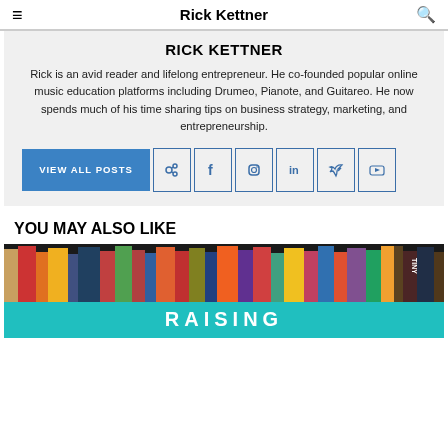Rick Kettner
RICK KETTNER
Rick is an avid reader and lifelong entrepreneur. He co-founded popular online music education platforms including Drumeo, Pianote, and Guitareo. He now spends much of his time sharing tips on business strategy, marketing, and entrepreneurship.
YOU MAY ALSO LIKE
[Figure (photo): Photo of colorful book shelf with a teal/cyan banner at the bottom showing the text RAISING]